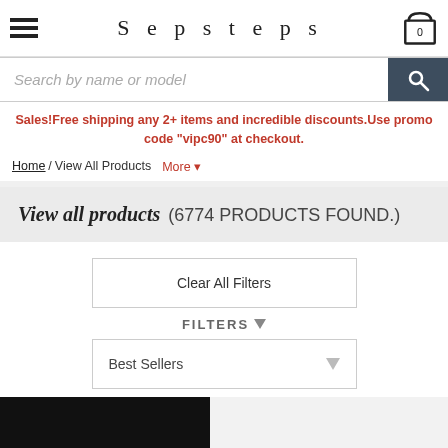Sepsteps
Search by name or model
Sales!Free shipping any 2+ items and incredible discounts.Use promo code "vipc90" at checkout.
Home / View All Products More ▼
View all products (6774 PRODUCTS FOUND.)
Clear All Filters
FILTERS ▼
Best Sellers ▼
[Figure (screenshot): Bottom product image strip — left tile is black, right tile is light gray]